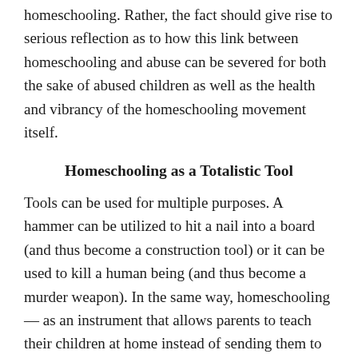homeschooling. Rather, the fact should give rise to serious reflection as to how this link between homeschooling and abuse can be severed for both the sake of abused children as well as the health and vibrancy of the homeschooling movement itself.
Homeschooling as a Totalistic Tool
Tools can be used for multiple purposes. A hammer can be utilized to hit a nail into a board (and thus become a construction tool) or it can be used to kill a human being (and thus become a murder weapon). In the same way, homeschooling — as an instrument that allows parents to teach their children at home instead of sending them to school — can be wielded as not only a pedagogical tool (to teach children) but also as a totalistic tool (to control children). A this tool can be used to discipline a child by